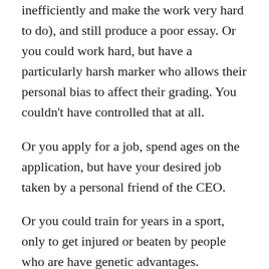inefficiently and make the work very hard to do), and still produce a poor essay. Or you could work hard, but have a particularly harsh marker who allows their personal bias to affect their grading. You couldn't have controlled that at all.
Or you apply for a job, spend ages on the application, but have your desired job taken by a personal friend of the CEO.
Or you could train for years in a sport, only to get injured or beaten by people who are have genetic advantages.
A large number of hidden factors affect the outcome of events in ways you cannot control. Blaming yourself for something that you cannot control is a great recipe for